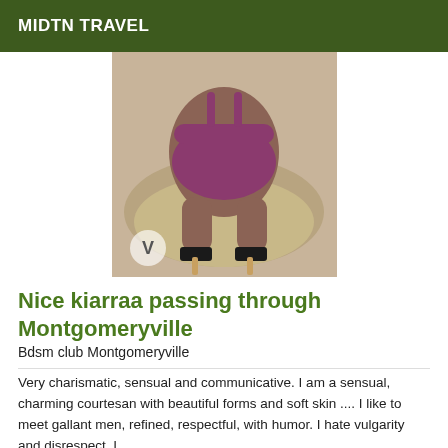MIDTN TRAVEL
[Figure (photo): A person in purple lingerie and black high heels kneeling on a fur surface, photographed from behind.]
Nice kiarraa passing through Montgomeryville
Bdsm club Montgomeryville
Very charismatic, sensual and communicative. I am a sensual, charming courtesan with beautiful forms and soft skin .... I like to meet gallant men, refined, respectful, with humor. I hate vulgarity and disrespect. I